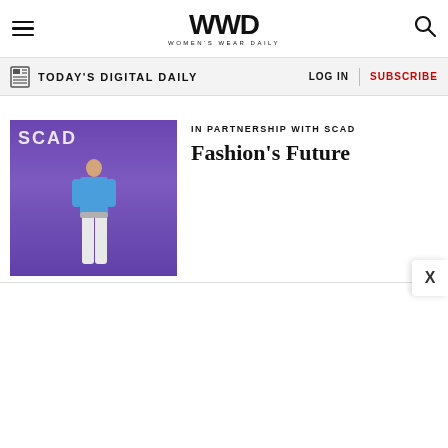WWD — Women's Wear Daily
TODAY'S DIGITAL DAILY | LOG IN | SUBSCRIBE
[Figure (photo): Runway model wearing blue outfit in front of purple SCAD backdrop]
IN PARTNERSHIP WITH SCAD
Fashion's Future